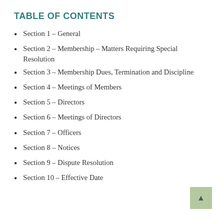TABLE OF CONTENTS
Section 1 – General
Section 2 – Membership – Matters Requiring Special Resolution
Section 3 – Membership Dues, Termination and Discipline
Section 4 – Meetings of Members
Section 5 – Directors
Section 6 – Meetings of Directors
Section 7 – Officers
Section 8 – Notices
Section 9 – Dispute Resolution
Section 10 – Effective Date